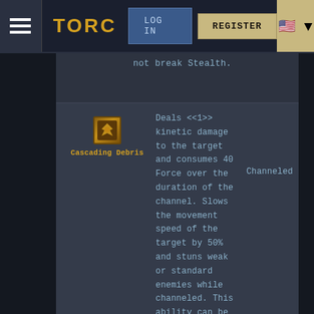TORC | LOG IN | REGISTER
not break Stealth.
Cascading Debris — Deals <<1>> kinetic damage to the target and consumes 40 Force over the duration of the channel. Slows the movement speed of the target by 50% and stuns weak or standard enemies while channeled. This ability can be channeled while moving. — Channeled
Strikes up to 8 nearby enemies with shattering force,